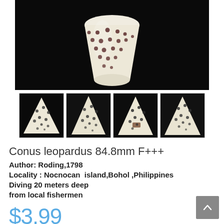[Figure (photo): Large main product photo of a Conus leopardus shell (white with dark brown spots/dots) against a black background, showing upper portion of the cone shell]
[Figure (photo): Four thumbnail photos of the Conus leopardus shell showing different angles — the shell is white/cream with a grid of dark brown/black square dots]
Conus leopardus 84.8mm F+++
Author: Roding,1798
Locality : Nocnocan  island,Bohol ,Philippines
Diving 20 meters deep
from local fishermen
$3.99
Final price excl. shipping costs
0.15 kg